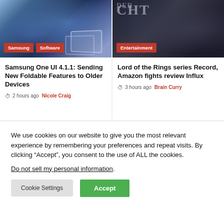[Figure (photo): Samsung foldable phone with blue floral display, shown open on white surface]
Samsung | Software
Samsung One UI 4.1.1: Sending New Foldable Features to Older Devices
2 hours ago  Nicole Craig
[Figure (photo): Dark cinematic image showing text 'DER ACHT' with a fist, entertainment/movie theme]
Entertainment
Lord of the Rings series Record, Amazon fights review Influx
3 hours ago  Brain Curry
We use cookies on our website to give you the most relevant experience by remembering your preferences and repeat visits. By clicking “Accept”, you consent to the use of ALL the cookies.
Do not sell my personal information.
Cookie Settings
Accept